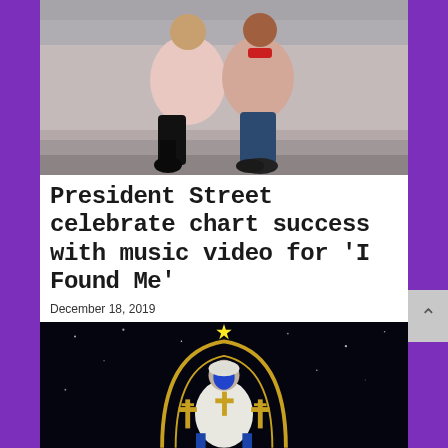[Figure (photo): Two people sitting on steps outdoors. One wearing a pink/beige fur coat with black leather pants and boots, the other in a pink jacket with jeans and dress shoes. Urban background with chain-link fence.]
President Street celebrate chart success with music video for 'I Found Me'
December 18, 2019
[Figure (illustration): Dark/space background with a figure in white robes and a blue face, wearing an Ethiopian-style turban, holding ornate gold Ethiopian crosses. There is a gold arched halo or gate behind the figure, and a bright star above. The image has a mystical or religious theme.]